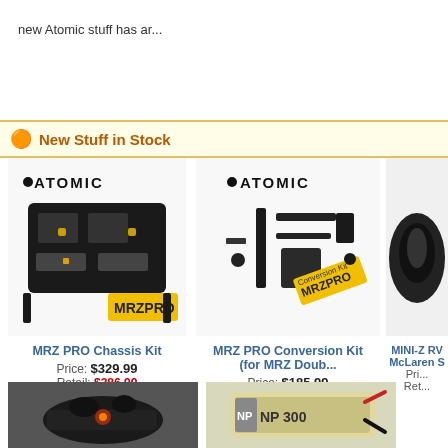new Atomic stuff has ar...
New Stuff in Stock
[Figure (photo): MRZ PRO Chassis Kit product photo with Atomic and MRZPRO branding]
MRZ PRO Chassis Kit
Price: $329.99
Retail: $386.99
[Figure (photo): MRZ PRO Conversion Kit product photo with Atomic and MRZPRO branding]
MRZ PRO Conversion Kit (for MRZ Doub...
Price: $185.99
Retail: $217.99
[Figure (photo): MINI-Z RV McLaren S partial product image]
MINI-Z RV McLaren S
[Figure (photo): RC car engine/motor close-up photo]
[Figure (photo): Battery pack product photo with NP 300 branding]